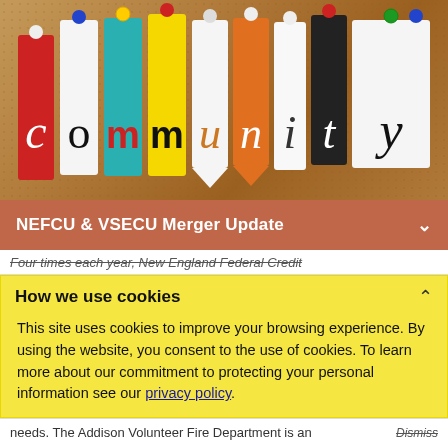[Figure (photo): Colorful paper cards pinned to a corkboard spelling out the word 'community' in various fonts and colors, each letter on a differently colored paper tag with a pushpin.]
NEFCU & VSECU Merger Update
Four times each year, New England Federal Credit
How we use cookies
This site uses cookies to improve your browsing experience. By using the website, you consent to the use of cookies. To learn more about our commitment to protecting your personal information see our privacy policy.
needs. The Addison Volunteer Fire Department is an